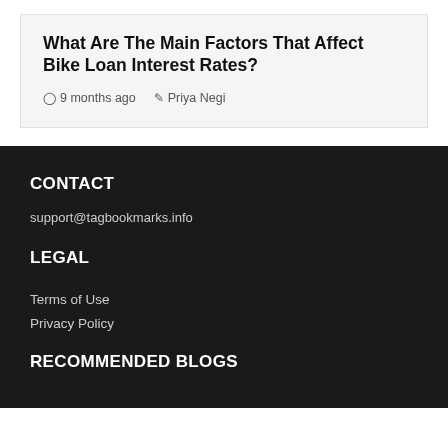What Are The Main Factors That Affect Bike Loan Interest Rates?
9 months ago   Priya Negi
CONTACT
support@tagbookmarks.info
LEGAL
Terms of Use
Privacy Policy
RECOMMENDED BLOGS